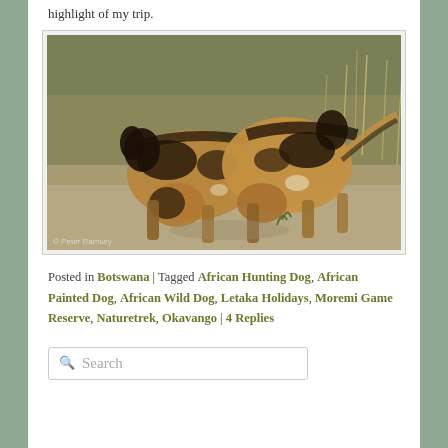highlight of my trip.
[Figure (photo): African wild/hunting/painted dogs huddled together on sandy ground, with dry grass in the background. Photo credit: © Peter Ramsey]
Posted in Botswana | Tagged African Hunting Dog, African Painted Dog, African Wild Dog, Letaka Holidays, Moremi Game Reserve, Naturetrek, Okavango | 4 Replies
Search